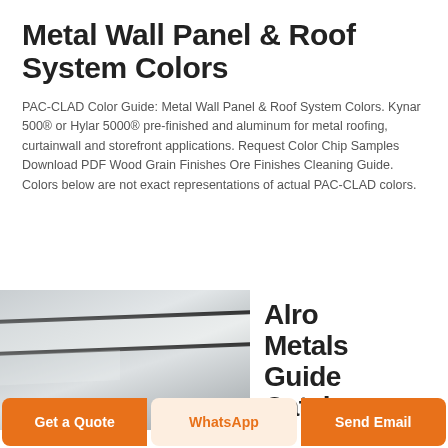Metal Wall Panel & Roof System Colors
PAC-CLAD Color Guide: Metal Wall Panel & Roof System Colors. Kynar 500® or Hylar 5000® pre-finished and aluminum for metal roofing, curtainwall and storefront applications. Request Color Chip Samples Download PDF Wood Grain Finishes Ore Finishes Cleaning Guide. Colors below are not exact representations of actual PAC-CLAD colors.
[Figure (photo): Close-up photo of overlapping metal wall panels or roof panels, showing layered metallic sheets with a polished silver finish and dark shadow lines between the panels.]
Alro Metals Guide Catalog
Get a Quote | WhatsApp | Send Email